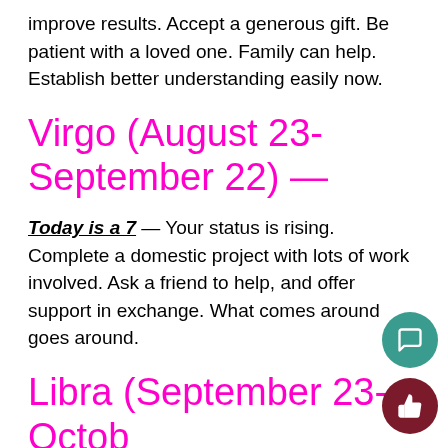improve results. Accept a generous gift. Be patient with a loved one. Family can help. Establish better understanding easily now.
Virgo (August 23-September 22) —
Today is a 7 — Your status is rising. Complete a domestic project with lots of work involved. Ask a friend to help, and offer support in exchange. What comes around goes around.
Libra (September 23-October 22) —
Today is a 6 — Work smarter, not harder, to generate team victory. Love and money could clash. Keep track